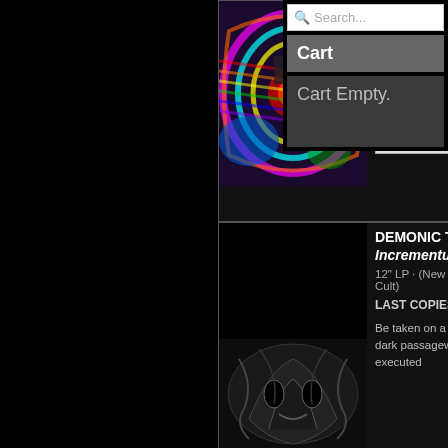[Figure (photo): Colorful psychedelic album artwork with swirling rainbow patterns]
shrinkwrap before shipping please make note when you check out. Otherwise, it will ship sealed.
The slowest American powerviolence record. Who needs all those pesky blast... (See More)
ADD TO CART
DEMONIC TEMPLE · Incrementum · $22
12" LP · (New Era Productions / Putrid Cult)
LAST COPIES!
Be taken on a glorious journey through dark passageways filled with well executed
[Figure (photo): Dark monochrome album artwork showing demonic/creature imagery]
Search...
Cart
Cart Empty.